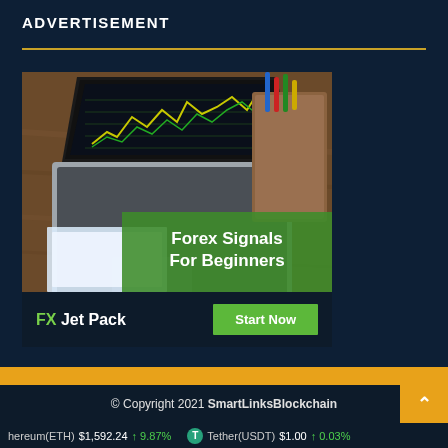ADVERTISEMENT
[Figure (photo): Advertisement banner for FX Jet Pack showing a laptop with trading chart on screen on a wooden desk, with text overlay 'Forex Signals For Beginners' and a 'Start Now' button. Brand text reads 'FX Jet Pack'.]
© Copyright 2021 SmartLinksBlockchain
hereum(ETH) $1,592.24 ↑ 9.87%  Tether(USDT) $1.00 ↑ 0.03%